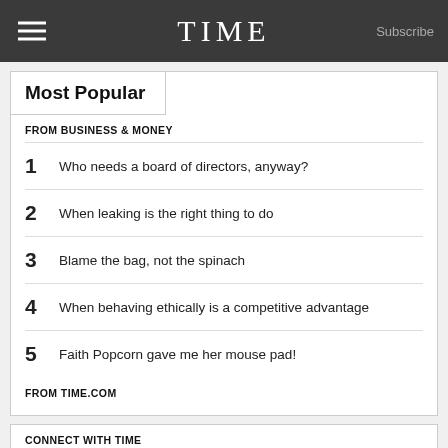TIME  Subscribe
Most Popular
FROM BUSINESS & MONEY
1  Who needs a board of directors, anyway?
2  When leaking is the right thing to do
3  Blame the bag, not the spinach
4  When behaving ethically is a competitive advantage
5  Faith Popcorn gave me her mouse pad!
FROM TIME.COM
CONNECT WITH TIME